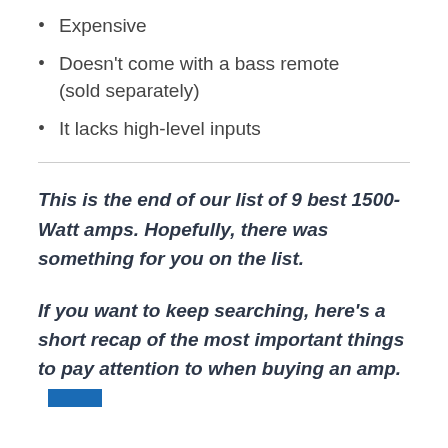Expensive
Doesn't come with a bass remote (sold separately)
It lacks high-level inputs
This is the end of our list of 9 best 1500-Watt amps. Hopefully, there was something for you on the list.
If you want to keep searching, here's a short recap of the most important things to pay attention to when buying an amp.